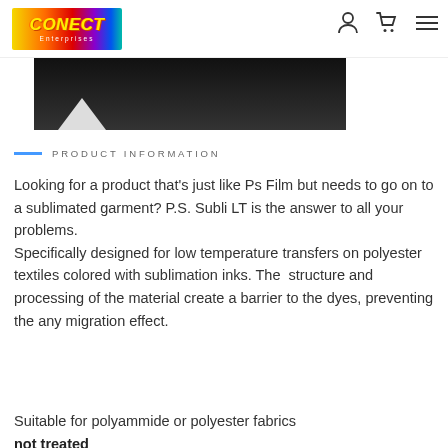CONECT Enterprises — navigation header with logo and icons
[Figure (photo): Product photo showing a dark/black background with a white triangular shape visible at bottom left — partial image of a sublimation transfer film product]
PRODUCT INFORMATION
Looking for a product that's just like Ps Film but needs to go on to a sublimated garment? P.S. Subli LT is the answer to all your problems. Specifically designed for low temperature transfers on polyester textiles colored with sublimation inks. The  structure and processing of the material create a barrier to the dyes, preventing the any migration effect.
Suitable for polyammide or polyester fabrics not treated